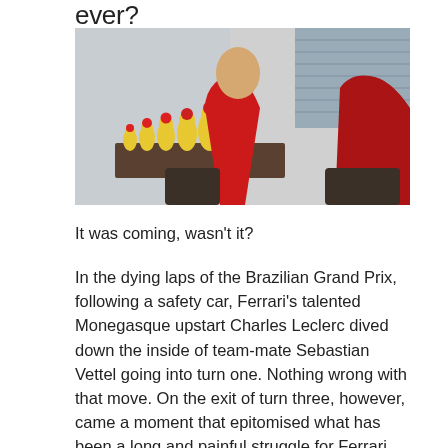ever?
[Figure (photo): Two Ferrari drivers in red Ferrari jackets sitting at a table outdoors, with Russian nesting dolls (matryoshka) arranged on the table between them. They appear to be in conversation.]
It was coming, wasn't it?
In the dying laps of the Brazilian Grand Prix, following a safety car,  Ferrari's talented Monegasque upstart Charles Leclerc dived down the inside of team-mate Sebastian Vettel going into turn one. Nothing wrong with that move. On the exit of turn three, however, came a moment that epitomised what has been a long and painful struggle for Ferrari over recent years.
At the start of this...